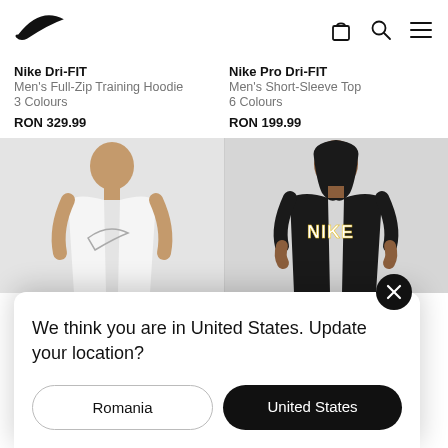[Figure (logo): Nike swoosh logo in top-left header]
[Figure (screenshot): Navigation icons: bag, search, menu in top-right header]
Nike Dri-FIT
Men's Full-Zip Training Hoodie
3 Colours
RON 329.99
Nike Pro Dri-FIT
Men's Short-Sleeve Top
6 Colours
RON 199.99
[Figure (photo): Man wearing white Nike tank top with swoosh logo]
[Figure (photo): Man wearing black Nike graphic t-shirt]
Nike D...
Men's...
We think you are in United States. Update your location?
Romania
United States